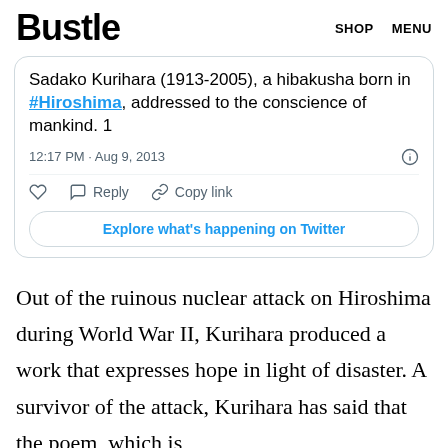Bustle  SHOP  MENU
[Figure (screenshot): Embedded tweet showing text about Sadako Kurihara (1913-2005), a hibakusha born in #Hiroshima, addressed to the conscience of mankind. 1 — 12:17 PM · Aug 9, 2013. With like, reply, copy link actions and Explore what's happening on Twitter button.]
Out of the ruinous nuclear attack on Hiroshima during World War II, Kurihara produced a work that expresses hope in light of disaster. A survivor of the attack, Kurihara has said that the poem, which is